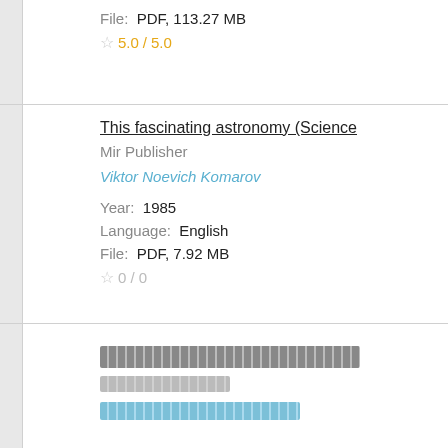File: PDF, 113.27 MB
5.0 / 5.0
This fascinating astronomy (Science
Mir Publisher
Viktor Noevich Komarov
Year: 1985
Language: English
File: PDF, 7.92 MB
0 / 0
[blurred title entry]
[blurred publisher entry]
[blurred author entry]